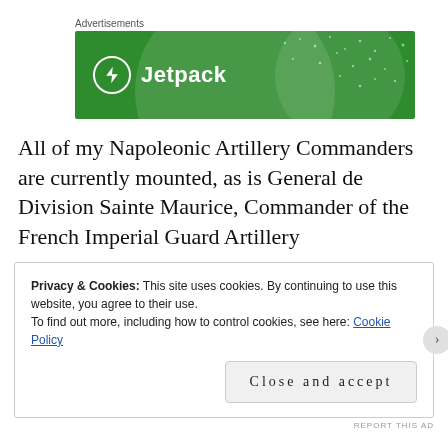Advertisements
[Figure (illustration): Jetpack advertisement banner — green background with circular design elements, white Jetpack logo (lightning bolt in circle) and 'Jetpack' text in white.]
All of my Napoleonic Artillery Commanders are currently mounted, as is General de Division Sainte Maurice, Commander of the French Imperial Guard Artillery
Privacy & Cookies: This site uses cookies. By continuing to use this website, you agree to their use.
To find out more, including how to control cookies, see here: Cookie Policy
Close and accept